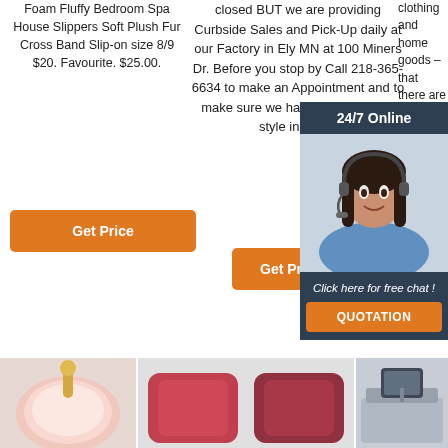Foam Fluffy Bedroom Spa House Slippers Soft Plush Fur Cross Band Slip-on size 8/9 $20. Favourite. $25.00.
Get Price
closed BUT we are providing Curbside Sales and Pick-Up daily at our Factory in Ely MN at 100 Miners Dr. Before you stop by Call 218-365-6634 to make an Appointment and to make sure we have your size and style in stock.
Get Price
clothing and home goods – that there are 3.7 items for every woman in Am
[Figure (photo): 24/7 online customer support chat widget with woman wearing headset, dark blue background, orange quotation button]
[Figure (photo): TOP navigation icon with orange dots forming house/arrow shape]
[Figure (photo): Fluffy pink/white bedroom slipper product photo]
[Figure (photo): Red/maroon fluffy pillow product photos]
[Figure (photo): Bed tech/electronics product photo]